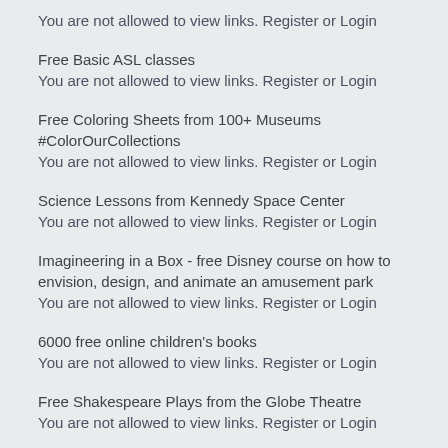You are not allowed to view links. Register or Login
Free Basic ASL classes
You are not allowed to view links. Register or Login
Free Coloring Sheets from 100+ Museums #ColorOurCollections
You are not allowed to view links. Register or Login
Science Lessons from Kennedy Space Center
You are not allowed to view links. Register or Login
Imagineering in a Box - free Disney course on how to envision, design, and animate an amusement park
You are not allowed to view links. Register or Login
6000 free online children's books
You are not allowed to view links. Register or Login
Free Shakespeare Plays from the Globe Theatre
You are not allowed to view links. Register or Login
3 Months of Rosetta Stone for Free
You are not allowed to view links. Register or Login